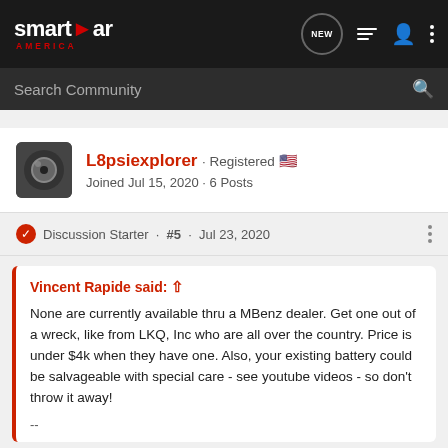smartcar America — navigation bar with search
L8psiexplorer · Registered 🇺🇸
Joined Jul 15, 2020 · 6 Posts
Discussion Starter · #5 · Jul 23, 2020
Vincent Rapide said: ↑
None are currently available thru a MBenz dealer. Get one out of a wreck, like from LKQ, Inc who are all over the country. Price is under $4k when they have one. Also, your existing battery could be salvageable with special care - see youtube videos - so don't throw it away!
--